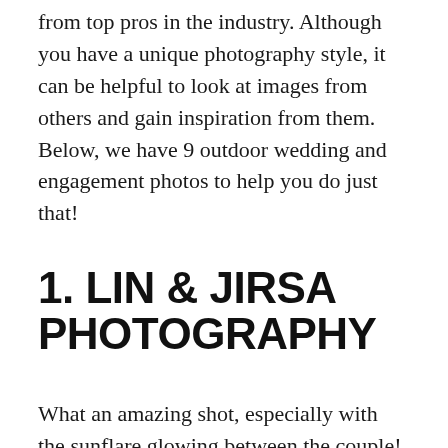from top pros in the industry. Although you have a unique photography style, it can be helpful to look at images from others and gain inspiration from them. Below, we have 9 outdoor wedding and engagement photos to help you do just that!
1. LIN & JIRSA PHOTOGRAPHY
What an amazing shot, especially with the sunflare glowing between the couple! This is a great example of something you can achieve if you are in this type of scenario during an engagement session. Find out how ShootDotEdit Wedding Pro Lin and Jirsa